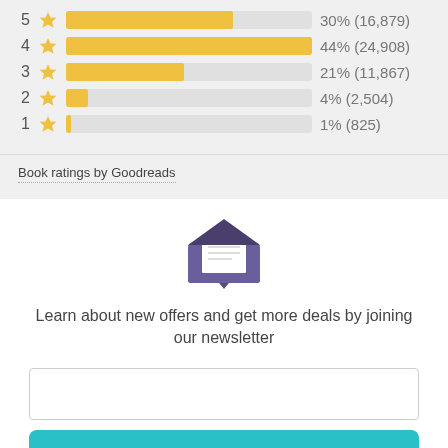[Figure (bar-chart): Book ratings by Goodreads]
Book ratings by Goodreads
[Figure (illustration): Envelope icon with letter inside]
Learn about new offers and get more deals by joining our newsletter